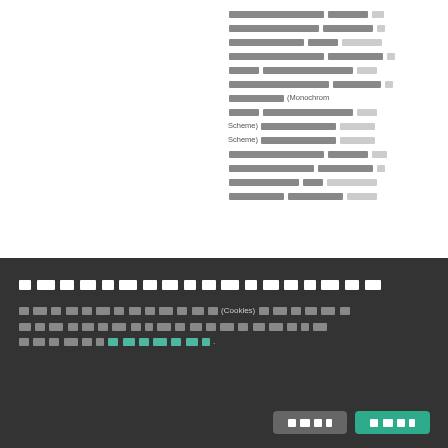[Thai text content with references to Monochrome Scheme and Scheme] — right column of a webpage, partially visible, containing Thai language body text discussing color schemes.
[Thai title text for cookie consent banner]
[Thai body text] (Cookies) [Thai text] [Thai link text]. [Thai text]